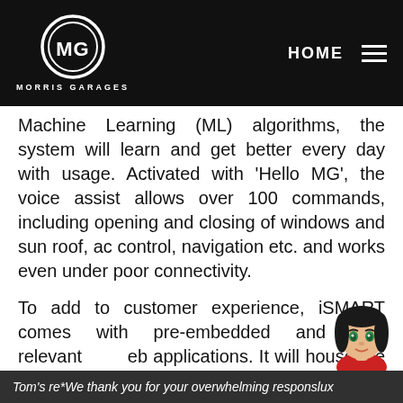[Figure (logo): MG Morris Garages logo — circular badge with MG lettering in white on black background, with 'MORRIS GARAGES' text below]
HOME
Machine Learning (ML) algorithms, the system will learn and get better every day with usage. Activated with 'Hello MG', the voice assist allows over 100 commands, including opening and closing of windows and sun roof, ac control, navigation etc. and works even under poor connectivity.
To add to customer experience, iSMART comes with pre-embedded and very relevant web applications. It will house the world leading Tom's re...
*We thank you for your overwhelming response